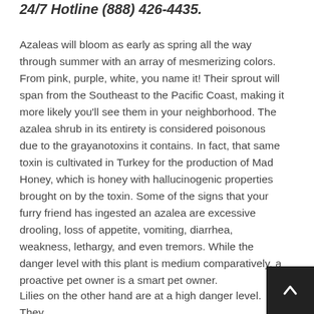24/7 Hotline (888) 426-4435.
Azaleas will bloom as early as spring all the way through summer with an array of mesmerizing colors. From pink, purple, white, you name it! Their sprout will span from the Southeast to the Pacific Coast, making it more likely you'll see them in your neighborhood. The azalea shrub in its entirety is considered poisonous due to the grayanotoxins it contains. In fact, that same toxin is cultivated in Turkey for the production of Mad Honey, which is honey with hallucinogenic properties brought on by the toxin. Some of the signs that your furry friend has ingested an azalea are excessive drooling, loss of appetite, vomiting, diarrhea, weakness, lethargy, and even tremors. While the danger level with this plant is medium comparatively, a proactive pet owner is a smart pet owner.
Lilies on the other hand are at a high danger level. They